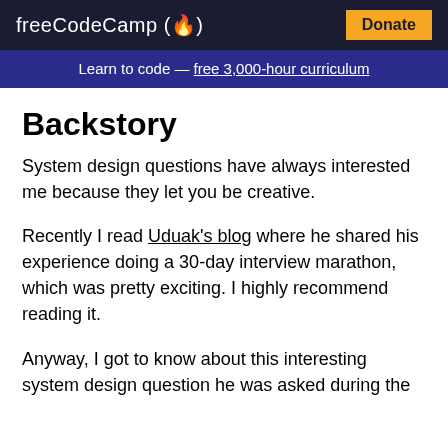freeCodeCamp(🔥)  Donate
Learn to code — free 3,000-hour curriculum
Backstory
System design questions have always interested me because they let you be creative.
Recently I read Uduak's blog where he shared his experience doing a 30-day interview marathon, which was pretty exciting. I highly recommend reading it.
Anyway, I got to know about this interesting system design question he was asked during the